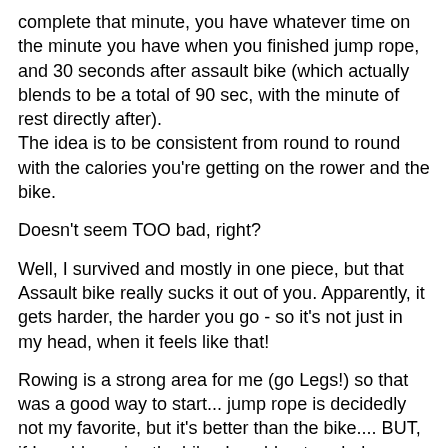complete that minute, you have whatever time on the minute you have when you finished jump rope, and 30 seconds after assault bike (which actually blends to be a total of 90 sec, with the minute of rest directly after). The idea is to be consistent from round to round with the calories you're getting on the rower and the bike.
Doesn't seem TOO bad, right?
Well, I survived and mostly in one piece, but that Assault bike really sucks it out of you. Apparently, it gets harder, the harder you go - so it's not just in my head, when it feels like that!
Rowing is a strong area for me (go Legs!) so that was a good way to start... jump rope is decidedly not my favorite, but it's better than the bike.... BUT, if I could survive the bike, I could get a whole minute's rest (which was the shortest minute ever).
All things considered, I was a sweaty, starfish-ing mess after that, but got it done without too much issue (outside of a little